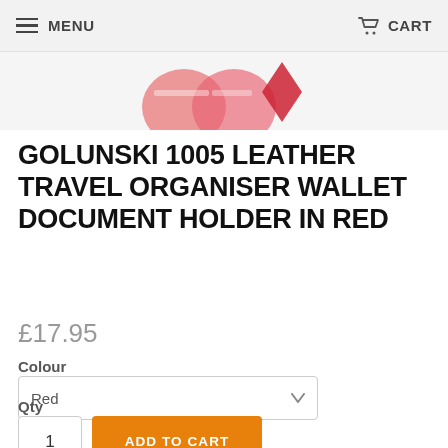MENU   CART
[Figure (photo): Partial product image showing red leather travel organiser wallet, partially cropped at top of page]
GOLUNSKI 1005 LEATHER TRAVEL ORGANISER WALLET DOCUMENT HOLDER IN RED
£17.95
Colour
Red
Qty
1
ADD TO CART